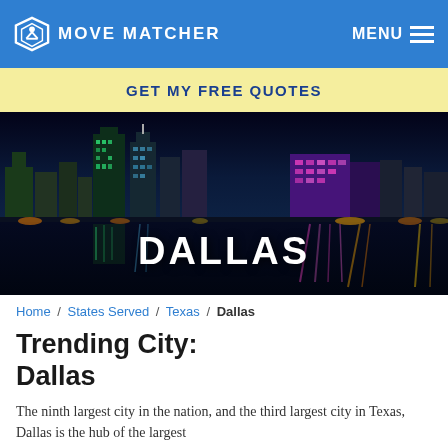MOVE MATCHER | MENU
GET MY FREE QUOTES
[Figure (photo): Night skyline of Dallas, Texas with colorful reflections in water. City name DALLAS overlaid in bold white text.]
Home / States Served / Texas / Dallas
Trending City: Dallas
The ninth largest city in the nation, and the third largest city in Texas, Dallas is the hub of the largest